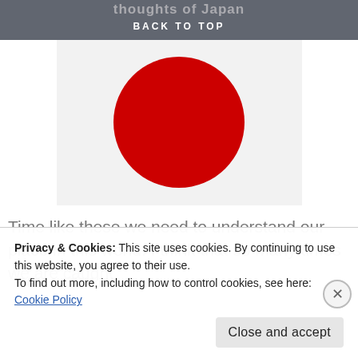thoughts of Japan
BACK TO TOP
[Figure (illustration): Japanese flag: white/light grey rectangle background with a large red circle (hinomaru) centered on it.]
Time like these we need to understand our place in this world. I think that so many times we are caught
Privacy & Cookies: This site uses cookies. By continuing to use this website, you agree to their use.
To find out more, including how to control cookies, see here: Cookie Policy
Close and accept